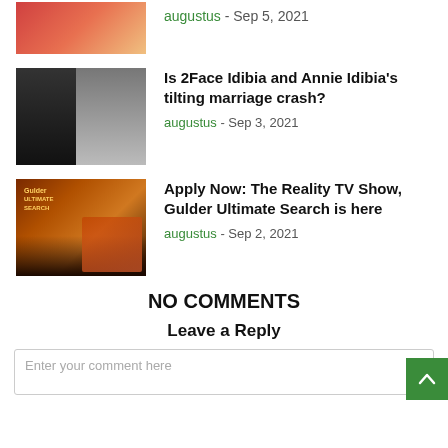[Figure (photo): Partial image of a man (cropped at top), article thumbnail]
augustus - Sep 5, 2021
[Figure (photo): Two people together, article thumbnail for 2Face Idibia and Annie Idibia marriage article]
Is 2Face Idibia and Annie Idibia's tilting marriage crash?
augustus - Sep 3, 2021
[Figure (photo): Gulder Ultimate Search TV show promotional image thumbnail]
Apply Now: The Reality TV Show, Gulder Ultimate Search is here
augustus - Sep 2, 2021
NO COMMENTS
Leave a Reply
Enter your comment here